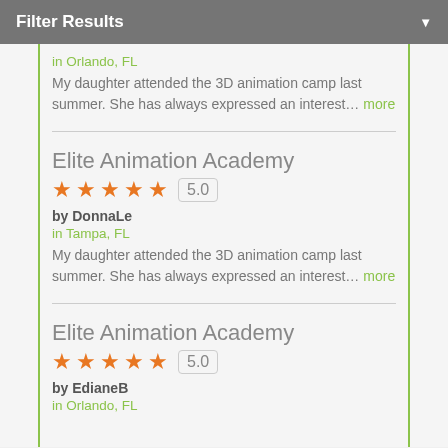Filter Results
in Orlando, FL
My daughter attended the 3D animation camp last summer. She has always expressed an interest... more
Elite Animation Academy
5.0
by DonnaLe
in Tampa, FL
My daughter attended the 3D animation camp last summer. She has always expressed an interest... more
Elite Animation Academy
5.0
by EdianeB
in Orlando, FL